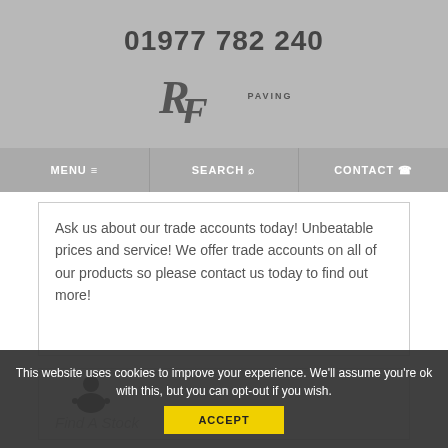01977 782 240
[Figure (logo): RF Paving logo with stylized R and F letters and PAVING text]
MENU  SEARCH  CONTACT
Ask us about our trade accounts today! Unbeatable prices and service! We offer trade accounts on all of our products so please contact us today to find out more!
[Figure (illustration): Person/user icon illustration above Find A Stock text]
Find A Stock
This website uses cookies to improve your experience. We'll assume you're ok with this, but you can opt-out if you wish.